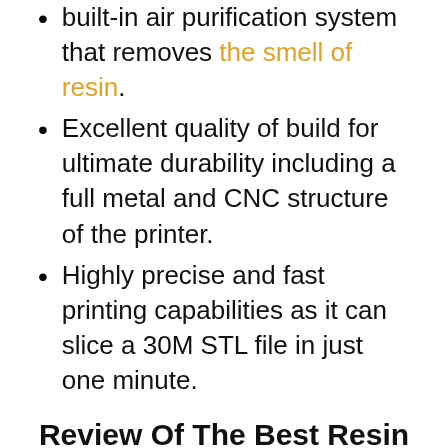built-in air purification system that removes the smell of resin.
Excellent quality of build for ultimate durability including a full metal and CNC structure of the printer.
Highly precise and fast printing capabilities as it can slice a 30M STL file in just one minute.
Review Of The Best Resin 3D Printers
#1 Resin 3D Printer: AnyCubic Photon 3D Printer UV LCD